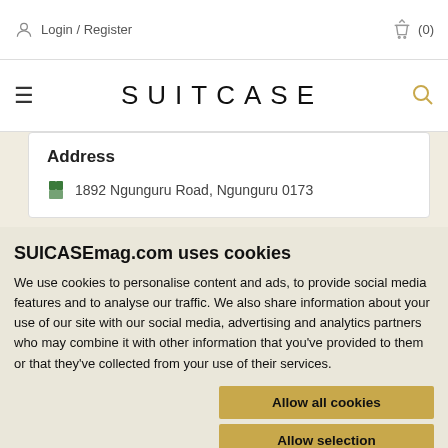Login / Register   (0)
SUITCASE
Address
1892 Ngunguru Road, Ngunguru 0173
SUICASEmag.com uses cookies
We use cookies to personalise content and ads, to provide social media features and to analyse our traffic. We also share information about your use of our site with our social media, advertising and analytics partners who may combine it with other information that you've provided to them or that they've collected from your use of their services.
Allow all cookies
Allow selection
Use necessary cookies only
Necessary   Preferences   Statistics   Marketing   Show details